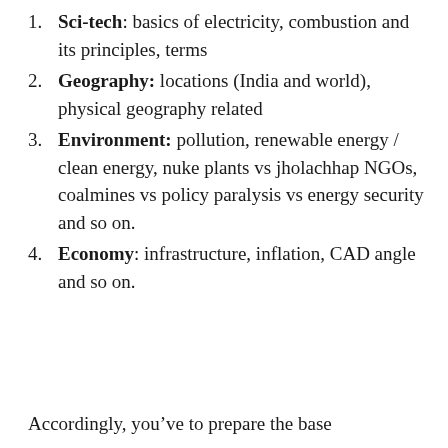Sci-tech: basics of electricity, combustion and its principles, terms
Geography: locations (India and world), physical geography related
Environment: pollution, renewable energy / clean energy, nuke plants vs jholachhap NGOs, coalmines vs policy paralysis vs energy security and so on.
Economy: infrastructure, inflation, CAD angle and so on.
Accordingly, you’ve to prepare the base